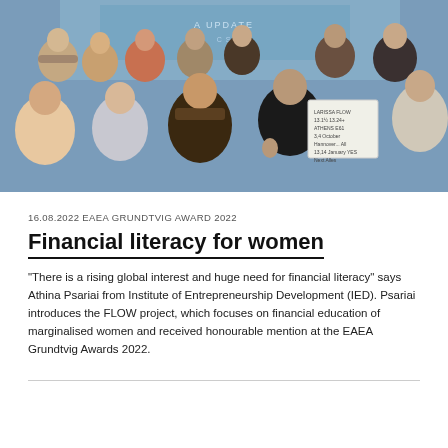[Figure (photo): Group photo of approximately 12 people posing together indoors, one person holding a whiteboard/sign with handwritten text about FLOW project dates. Background shows a blue presentation screen.]
16.08.2022 EAEA GRUNDTVIG AWARD 2022
Financial literacy for women
“There is a rising global interest and huge need for financial literacy” says Athina Psariai from Institute of Entrepreneurship Development (IED). Psariai introduces the FLOW project, which focuses on financial education of marginalised women and received honourable mention at the EAEA Grundtvig Awards 2022.